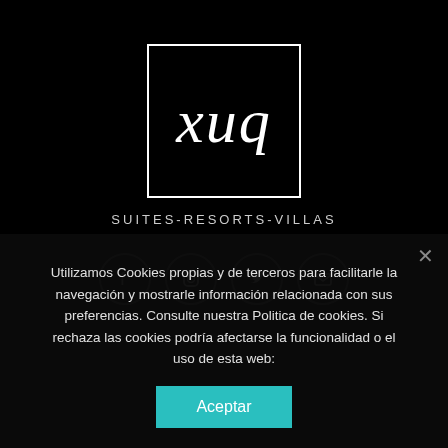[Figure (logo): XUQ logo: white square border with stylized italic text 'xuq' inside]
SUITES-RESORTS-VILLAS
[Figure (infographic): Four circular social media icons: Facebook, Instagram, Twitter, Email]
Utilizamos Cookies propias y de terceros para facilitarle la navegación y mostrarle información relacionada con sus preferencias. Consulte nuestra Politica de cookies. Si rechaza las cookies podría afectarse la funcionalidad o el uso de esta web:
Aceptar